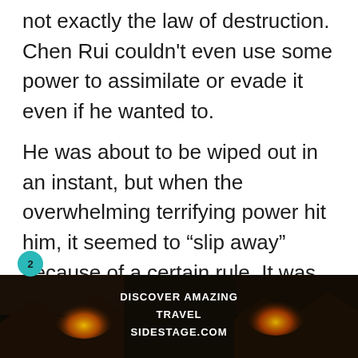not exactly the law of destruction. Chen Rui couldn't even use some power to assimilate or evade it even if he wanted to.
He was about to be wiped out in an instant, but when the overwhelming terrifying power hit him, it seemed to “slip away” because of a certain rule. It was as if Chen Rui was an “exceptional” existence.
This phenomenon was of course not due to Chen Rui’s insignificant power, but the action of the cloak on his body
[Figure (photo): Advertisement banner at bottom showing a sunset/landscape photo with text 'DISCOVER AMAZING TRAVEL SIDESTAGE.COM']